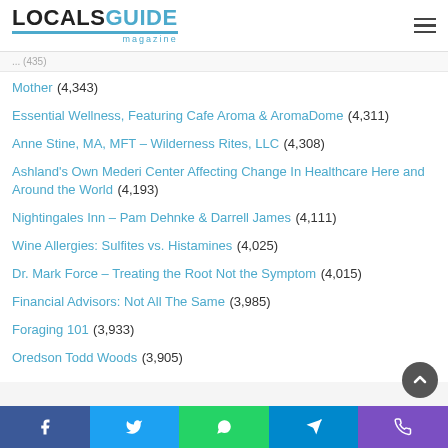LOCALSGUIDE magazine
Mother (4,343)
Essential Wellness, Featuring Cafe Aroma & AromaDome (4,311)
Anne Stine, MA, MFT – Wilderness Rites, LLC (4,308)
Ashland's Own Mederi Center Affecting Change In Healthcare Here and Around the World (4,193)
Nightingales Inn – Pam Dehnke & Darrell James (4,111)
Wine Allergies: Sulfites vs. Histamines (4,025)
Dr. Mark Force – Treating the Root Not the Symptom (4,015)
Financial Advisors: Not All The Same (3,985)
Foraging 101 (3,933)
Oredson Todd Woods (3,905)